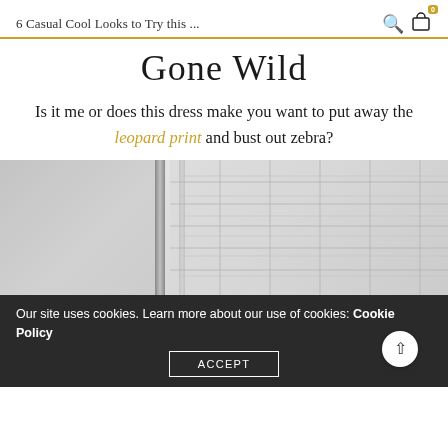6 Casual Cool Looks to Try this ...
Gone Wild
Is it me or does this dress make you want to put away the leopard print and bust out zebra?
[Figure (photo): Outdoor photo showing a building wall with tile pattern and a pole or pillar, in muted grey tones.]
Our site uses cookies. Learn more about our use of cookies: Cookie Policy